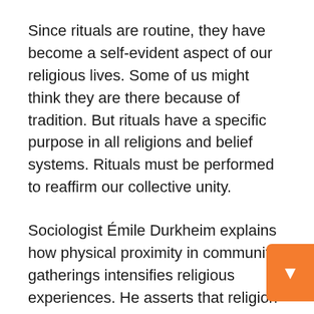Since rituals are routine, they have become a self-evident aspect of our religious lives. Some of us might think they are there because of tradition. But rituals have a specific purpose in all religions and belief systems. Rituals must be performed to reaffirm our collective unity.
Sociologist Émile Durkheim explains how physical proximity in community gatherings intensifies religious experiences. He asserts that religion is a social phenomenon. It is made up of people who generally adhere to sacred beliefs and rituals.
Our rituals or religious practices are necessary components of religion because they regenerate beliefs. While beliefs reside in the mind, rituals